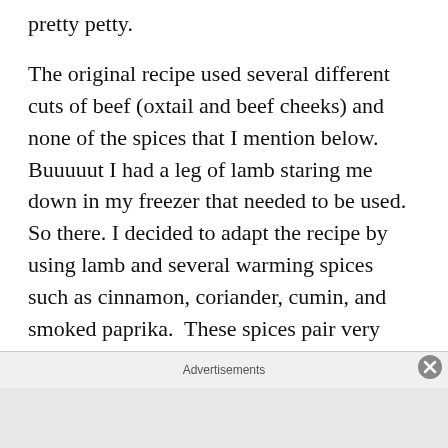pretty petty.
The original recipe used several different cuts of beef (oxtail and beef cheeks) and none of the spices that I mention below.  Buuuuut I had a leg of lamb staring me down in my freezer that needed to be used.  So there. I decided to adapt the recipe by using lamb and several warming spices such as cinnamon, coriander, cumin, and smoked paprika.  These spices pair very well with lamb. It gave the stew a hearty and warm balance.  If you don't have lamb, you can
Advertisements